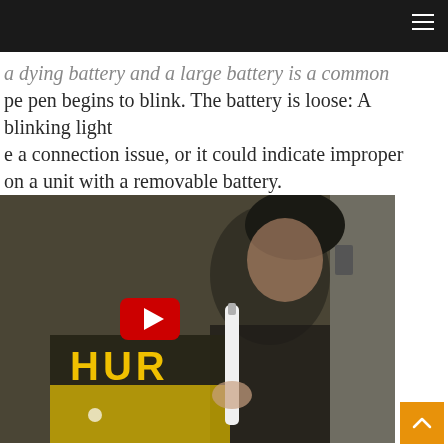a dying battery and a large battery is common pe pen begins to blink. The battery is loose: A blinking light e a connection issue, or it could indicate improper on a unit with a removable battery.
[Figure (screenshot): YouTube video thumbnail showing a person in a black Hurley shirt holding a white vape pen, with a red YouTube play button overlay in the center.]
[Figure (other): Orange scroll-to-top button with upward chevron arrow in the bottom right corner.]